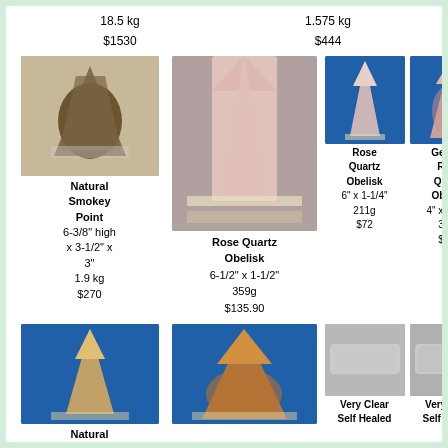18.5 kg
$1530
1.575 kg
$444
[Figure (photo): Natural Smokey Point crystal, dark brown/smoky color]
Natural Smokey Point
6-3/8" high x 3-1/2" x 3"
1.9 kg
$270
[Figure (photo): Rose Quartz Obelisk, tall pale pink obelisk on ruler]
Rose Quartz Obelisk
6-1/2" x 1-1/2"
359g
$135.90
[Figure (photo): Rose Quartz Obelisk on blue background]
Rose Quartz Obelisk
6" x 1-1/4"
211g
$72
[Figure (photo): Gemmy Rose Quartz Obelisk on blue background]
Gemmy Rose Quartz Obelisk
4" x 2-1/4"
390g
$117
[Figure (photo): Natural Citrine small point on blue background]
Natural Citrine
[Figure (photo): Large Citrine point on blue background]
[Figure (photo): Very Clear Self Healed crystal, gray background]
Very Clear Self Healed
[Figure (photo): Very Clear Self Healed crystal, gray background]
Very Clear Self Healed